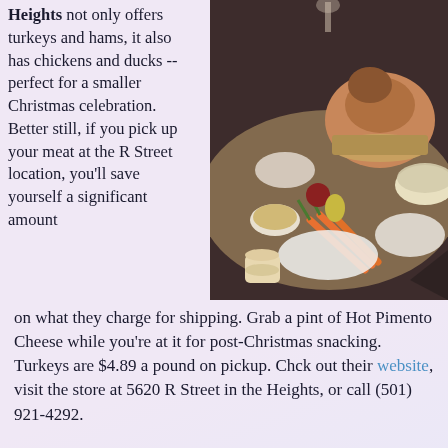Heights not only offers turkeys and hams, it also has chickens and ducks -- perfect for a smaller Christmas celebration. Better still, if you pick up your meat at the R Street location, you'll save yourself a significant amount on what they charge for shipping. Grab a pint of Hot Pimento Cheese while you're at it for post-Christmas snacking. Turkeys are $4.89 a pound on pickup. Chck out their website, visit the store at 5620 R Street in the Heights, or call (501) 921-4292.
[Figure (photo): A festive holiday dinner table with a large roasted turkey or chicken, dishes of rice, carrots, small bowls of sauces, fruit, and other holiday trimmings on a dark tablecloth.]
[Figure (photo): Close-up of a bowl of creamy macaroni and cheese or similar cheesy casserole dish.]
Vegetables and Sides: Looking for that perfect side. And